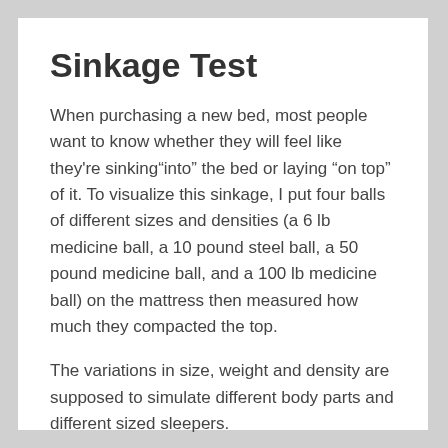Sinkage Test
When purchasing a new bed, most people want to know whether they will feel like they're sinking”into” the bed or laying “on top” of it. To visualize this sinkage, I put four balls of different sizes and densities (a 6 lb medicine ball, a 10 pound steel ball, a 50 pound medicine ball, and a 100 lb medicine ball) on the mattress then measured how much they compacted the top.
The variations in size, weight and density are supposed to simulate different body parts and different sized sleepers.